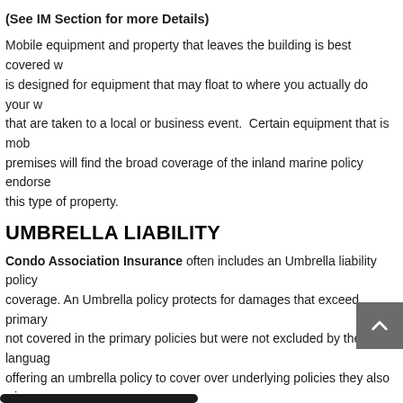(See IM Section for more Details)
Mobile equipment and property that leaves the building is best covered w... is designed for equipment that may float to where you actually do your w... that are taken to a local or business event. Certain equipment that is mob... premises will find the broad coverage of the inland marine policy endorse... this type of property.
UMBRELLA LIABILITY
Condo Association Insurance often includes an Umbrella liability policy coverage. An Umbrella policy protects for damages that exceed primary not covered in the primary policies but were not excluded by the languag offering an umbrella policy to cover over underlying policies they also w covered by the Umbrella so make sure to ask.
CRIME AND FIDELITY
Employee Theft
Crime Inside
Crime Outside